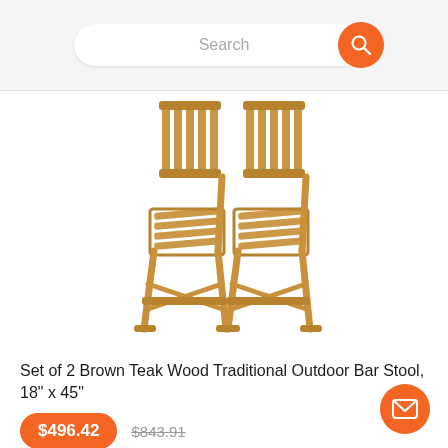Search
[Figure (photo): Two brown teak wood folding bar stools side by side, shown from a slightly elevated angle against a white background.]
Set of 2 Brown Teak Wood Traditional Outdoor Bar Stool, 18" x 45"
$496.42  $843.91